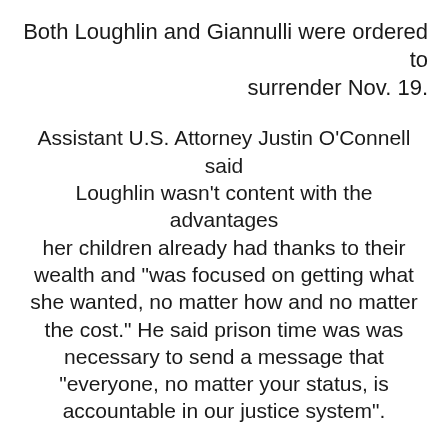Both Loughlin and Giannulli were ordered to surrender Nov. 19.
Assistant U.S. Attorney Justin O’Connell said Loughlin wasn’t content with the advantages her children already had thanks to their wealth and “was focused on getting what she wanted, no matter how and no matter the cost.” He said prison time was was necessary to send a message that “everyone, no matter your status, is accountable in our justice system”.
Loughlin appeared calm, showing little emotion as her attorney BJ Trach said she is “profoundly sorry” for her actions.